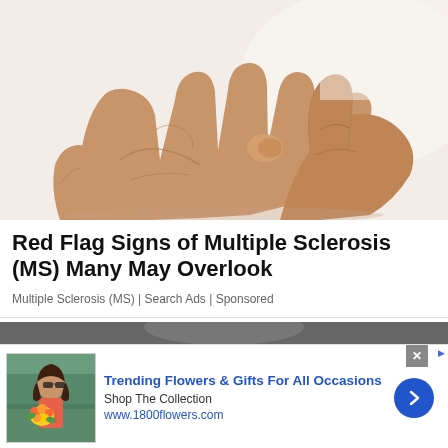[Figure (photo): Close-up photo of an elderly person's hands with fingers showing tremors or stiffness, indicative of a neurological condition, on a white/light background.]
Red Flag Signs of Multiple Sclerosis (MS) Many May Overlook
Multiple Sclerosis (MS) | Search Ads | Sponsored
[Figure (photo): Partial view of a second article image, dark/blurred, partially visible at the bottom of the main content area.]
[Figure (photo): Advertisement image showing a woman with flowers (1800flowers.com ad).]
Trending Flowers & Gifts For All Occasions
Shop The Collection
www.1800flowers.com